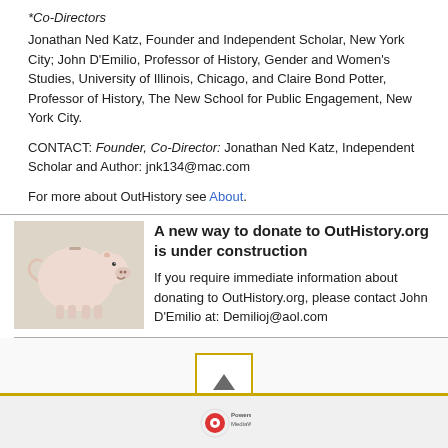*Co-Directors
Jonathan Ned Katz, Founder and Independent Scholar, New York City; John D'Emilio, Professor of History, Gender and Women's Studies, University of Illinois, Chicago, and Claire Bond Potter, Professor of History, The New School for Public Engagement, New York City.
CONTACT: Founder, Co-Director: Jonathan Ned Katz, Independent Scholar and Author: jnk134@mac.com
For more about OutHistory see About.
[Figure (photo): Piggy bank photo]
A new way to donate to OutHistory.org is under construction
If you require immediate information about donating to OutHistory.org, please contact John D'Emilio at: Demilioj@aol.com
[Figure (other): Scroll to top button with upward arrow]
Powered by MediaWiki